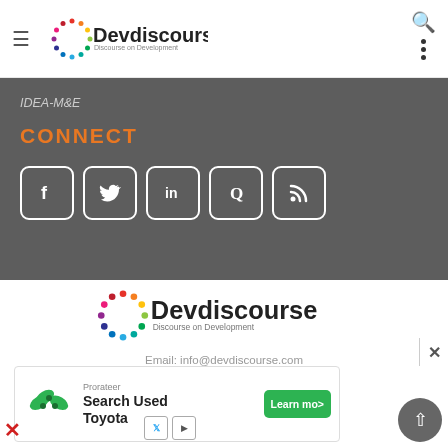Devdiscourse — Discourse on Development
IDEA-M&E
CONNECT
[Figure (infographic): Social media icon buttons: Facebook, Twitter, LinkedIn, Quora, RSS — white outlined rounded-square buttons on dark grey background]
[Figure (logo): Devdiscourse logo with colorful circle of dots and text 'Devdiscourse — Discourse on Development']
Email: info@devdiscourse.com
[Figure (infographic): Advertisement: Prorateer — Search Used Toyota — Learn more button (green)]